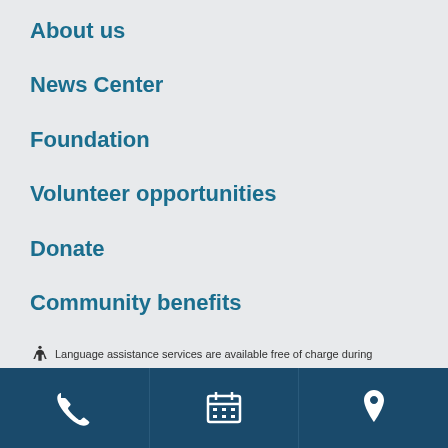About us
News Center
Foundation
Volunteer opportunities
Donate
Community benefits
Speakers & sponsorships
Language assistance services are available free of charge during
[Figure (infographic): Footer bar with three icons: phone, calendar, and map pin on dark navy background]